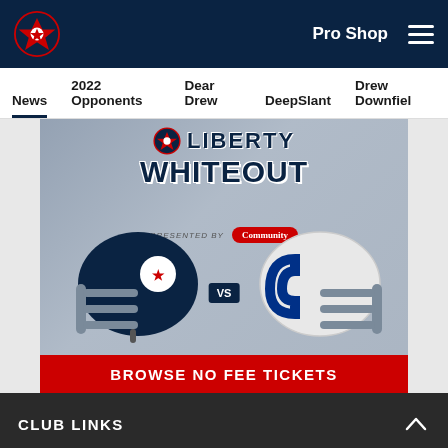Houston Texans navigation bar with logo, Pro Shop link, and hamburger menu
News | 2022 Opponents | Dear Drew | DeepSlant | Drew Downfield
[Figure (photo): Liberty Whiteout promotional image presented by Community Coffee, showing Houston Texans helmet vs Indianapolis Colts helmet, with 'Browse No Fee Tickets' red banner at the bottom]
CLUB LINKS
[Figure (infographic): Social media share icons row: Facebook, Twitter, Email, Link]